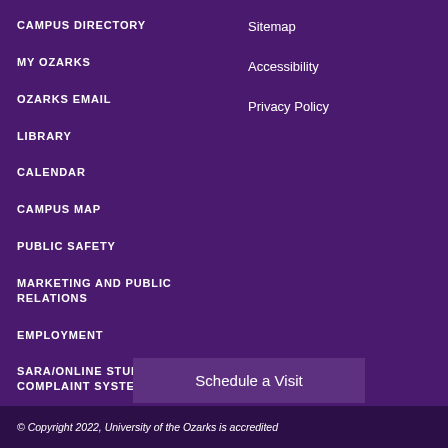CAMPUS DIRECTORY
MY OZARKS
OZARKS EMAIL
LIBRARY
CALENDAR
CAMPUS MAP
PUBLIC SAFETY
MARKETING AND PUBLIC RELATIONS
EMPLOYMENT
SARA/ONLINE STUDENTS COMPLAINT SYSTEM
Sitemap
Accessibility
Privacy Policy
Schedule a Visit
© Copyright 2022, University of the Ozarks is accredited